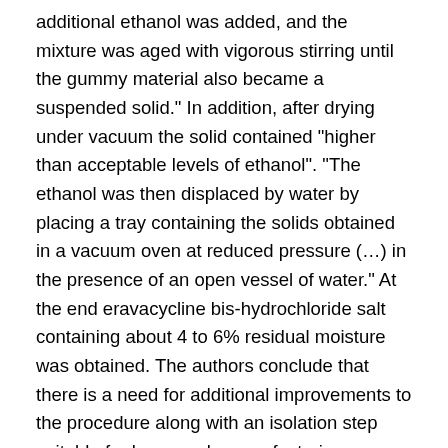additional ethanol was added, and the mixture was aged with vigorous stirring until the gummy material also became a suspended solid." In addition, after drying under vacuum the solid contained "higher than acceptable levels of ethanol". "The ethanol was then displaced by water by placing a tray containing the solids obtained in a vacuum oven at reduced pressure (…) in the presence of an open vessel of water." At the end eravacycline bis-hydrochloride salt containing about 4 to 6% residual moisture was obtained. The authors conclude that there is a need for additional improvements to the procedure along with an isolation step suitable for large scale manufacturing.
It is noteworthy that eravacycline or its salts are nowhere described as being a crystalline solid and that the preparation methods used for the preparation of eravacycline are processes like lyophilization, preparative